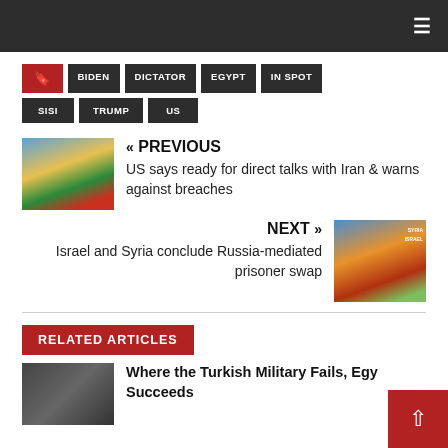Navigation bar with hamburger menu
BIDEN
DICTATOR
EGYPT
IN SPOT
SISI
TRUMP
US
« PREVIOUS
US says ready for direct talks with Iran & warns against breaches
NEXT »
Israel and Syria conclude Russia-mediated prisoner swap
RELATED ARTICLES
Where the Turkish Military Fails, Egypt Succeeds